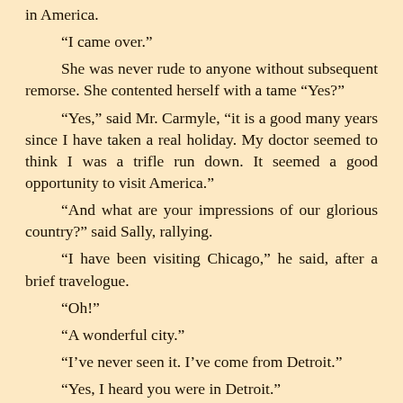in America.
“I came over.”
She was never rude to anyone without subsequent remorse. She contented herself with a tame “Yes?”
“Yes,” said Mr. Carmyle, “it is a good many years since I have taken a real holiday. My doctor seemed to think I was a trifle run down. It seemed a good opportunity to visit America.”
“And what are your impressions of our glorious country?” said Sally, rallying.
“I have been visiting Chicago,” he said, after a brief travelogue.
“Oh!”
“A wonderful city.”
“I’ve never seen it. I’ve come from Detroit.”
“Yes, I heard you were in Detroit.”
Sally’s eyes opened. “You heard I was in Detroit? Good